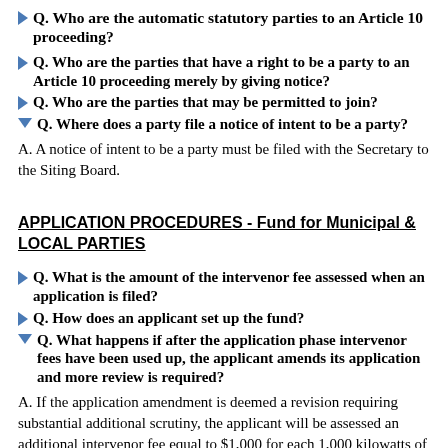Q. Who are the automatic statutory parties to an Article 10 proceeding?
Q. Who are the parties that have a right to be a party to an Article 10 proceeding merely by giving notice?
Q. Who are the parties that may be permitted to join?
Q. Where does a party file a notice of intent to be a party?
A. A notice of intent to be a party must be filed with the Secretary to the Siting Board.
APPLICATION PROCEDURES - Fund for Municipal & LOCAL PARTIES
Q. What is the amount of the intervenor fee assessed when an application is filed?
Q. How does an applicant set up the fund?
Q. What happens if after the application phase intervenor fees have been used up, the applicant amends its application and more review is required?
A. If the application amendment is deemed a revision requiring substantial additional scrutiny, the applicant will be assessed an additional intervenor fee equal to $1,000 for each 1,000 kilowatts of capacity of the proposed project, as amended, but no more than